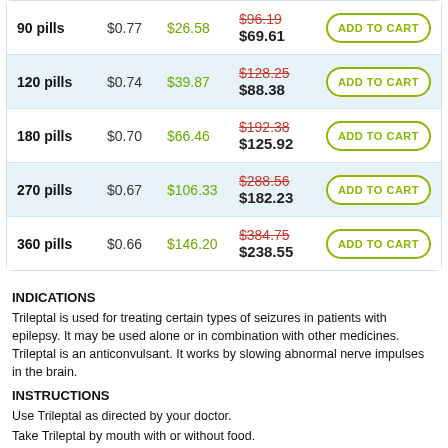| Pills | Per pill | Savings | Price | Action |
| --- | --- | --- | --- | --- |
| 90 pills | $0.77 | $26.58 | $96.19 → $69.61 | ADD TO CART |
| 120 pills | $0.74 | $39.87 | $128.25 → $88.38 | ADD TO CART |
| 180 pills | $0.70 | $66.46 | $192.38 → $125.92 | ADD TO CART |
| 270 pills | $0.67 | $106.33 | $288.56 → $182.23 | ADD TO CART |
| 360 pills | $0.66 | $146.20 | $384.75 → $238.55 | ADD TO CART |
INDICATIONS
Trileptal is used for treating certain types of seizures in patients with epilepsy. It may be used alone or in combination with other medicines. Trileptal is an anticonvulsant. It works by slowing abnormal nerve impulses in the brain.
INSTRUCTIONS
Use Trileptal as directed by your doctor.
Take Trileptal by mouth with or without food.
It is important to take all doses on time to keep the level of medicine in your blood constant. Take doses at evenly spaced intervals. Do not skip doses.